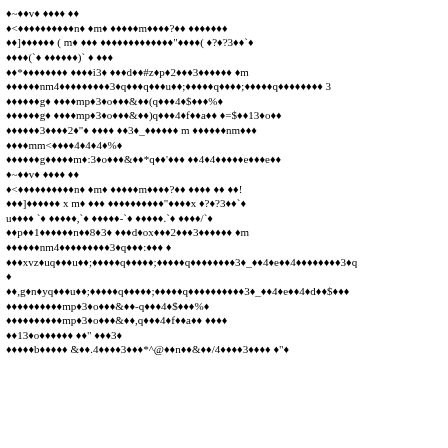Corrupted/encoded document text content with replacement characters and mixed ASCII symbols throughout the page.